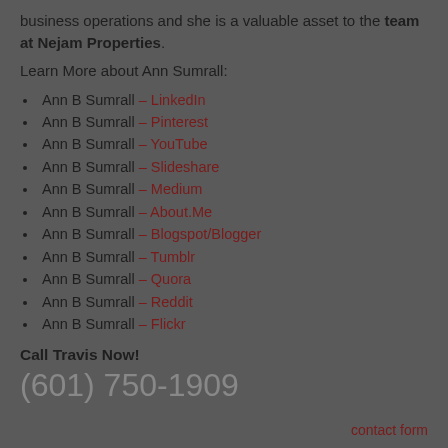business operations and she is a valuable asset to the team at Nejam Properties.
Learn More about Ann Sumrall:
Ann B Sumrall – LinkedIn
Ann B Sumrall – Pinterest
Ann B Sumrall – YouTube
Ann B Sumrall – Slideshare
Ann B Sumrall – Medium
Ann B Sumrall – About.Me
Ann B Sumrall – Blogspot/Blogger
Ann B Sumrall – Tumblr
Ann B Sumrall – Quora
Ann B Sumrall – Reddit
Ann B Sumrall – Flickr
Call Travis Now!
(601) 750-1909
contact form